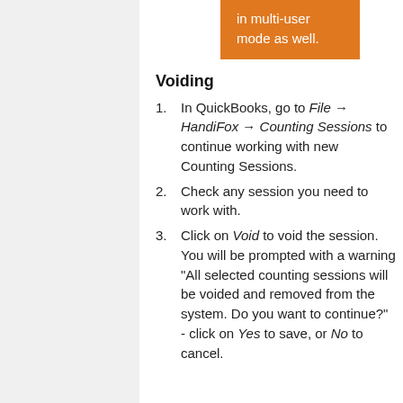[Figure (other): Orange callout box with text: 'in multi-user mode as well.']
Voiding
In QuickBooks, go to File → HandiFox → Counting Sessions to continue working with new Counting Sessions.
Check any session you need to work with.
Click on Void to void the session. You will be prompted with a warning "All selected counting sessions will be voided and removed from the system. Do you want to continue?" - click on Yes to save, or No to cancel.